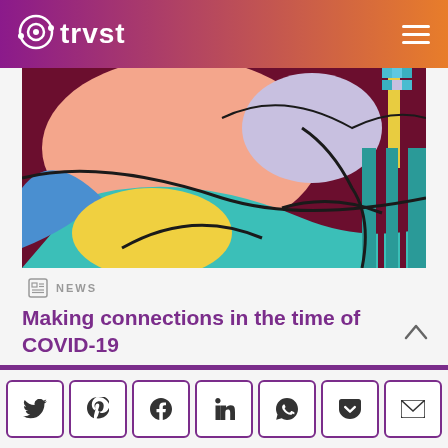trvst
[Figure (photo): Colorful abstract graffiti mural with shapes in pink, teal, yellow, blue, maroon, and lavender]
NEWS
Making connections in the time of COVID-19